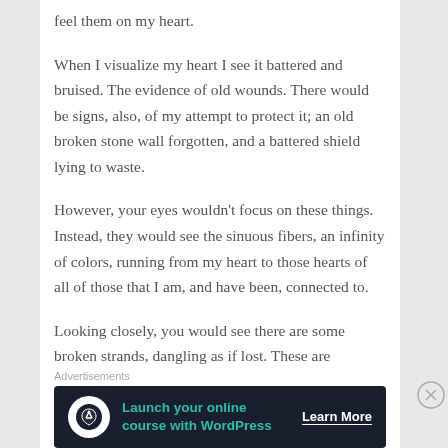feel them on my heart.
When I visualize my heart I see it battered and bruised. The evidence of old wounds. There would be signs, also, of my attempt to protect it; an old broken stone wall forgotten, and a battered shield lying to waste.
However, your eyes wouldn't focus on these things. Instead, they would see the sinuous fibers, an infinity of colors, running from my heart to those hearts of all of those that I am, and have been, connected to.
Looking closely, you would see there are some broken strands, dangling as if lost. These are reminders of injuries long past. Other strands pulse with a light that seems close
Advertisements
[Figure (infographic): Advertisement banner for launching an online course with WordPress, dark background with teal text and Learn More button]